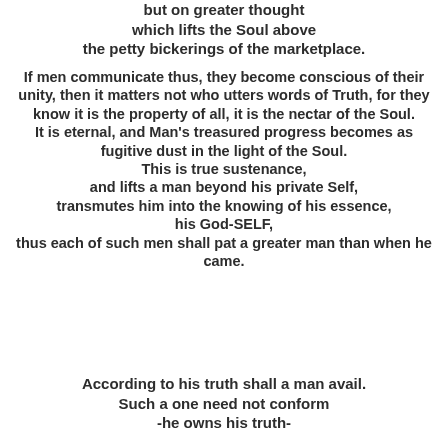but on greater thought which lifts the Soul above the petty bickerings of the marketplace.
If men communicate thus, they become conscious of their unity, then it matters not who utters words of Truth, for they know it is the property of all, it is the nectar of the Soul. It is eternal, and Man's treasured progress becomes as fugitive dust in the light of the Soul. This is true sustenance, and lifts a man beyond his private Self, transmutes him into the knowing of his essence, his God-SELF, thus each of such men shall pat a greater man than when he came.
According to his truth shall a man avail. Such a one need not conform -he owns his truth-